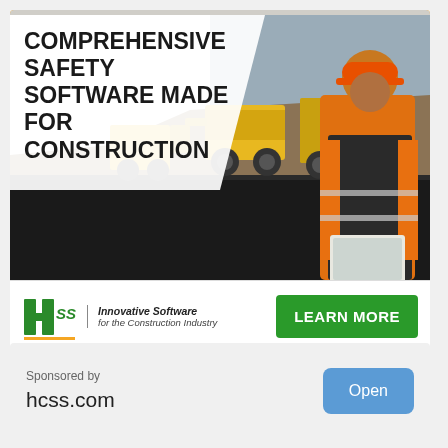[Figure (photo): Advertisement for HCSS safety software. Top orange bar, bold title 'COMPREHENSIVE SAFETY SOFTWARE MADE FOR CONSTRUCTION', background photo of construction worker in orange hard hat and safety vest using a laptop/tablet at a road construction site with yellow heavy machinery. HCSS logo with 'Innovative Software for the Construction Industry' tagline and green 'LEARN MORE' button.]
Sponsored by
hcss.com
Open